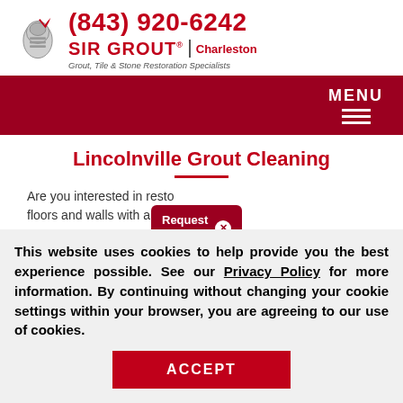[Figure (logo): Sir Grout logo with knight helmet icon, phone number (843) 920-6242, SIR GROUT brand name, Charleston location, and tagline 'Grout, Tile & Stone Restoration Specialists']
MENU
Lincolnville Grout Cleaning
Are you interested in restoring your tile floors and walls with a pro...
Request a Free ×
This website uses cookies to help provide you the best experience possible. See our Privacy Policy for more information. By continuing without changing your cookie settings within your browser, you are agreeing to our use of cookies.
ACCEPT